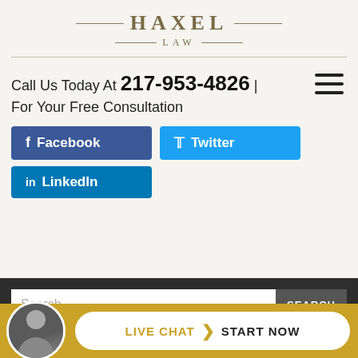[Figure (logo): Haxel Law logo with decorative lines and serif text]
Call Us Today At 217-953-4826 | For Your Free Consultation
[Figure (other): Hamburger menu icon with three horizontal lines]
[Figure (other): Facebook social media button (blue)]
[Figure (other): Twitter social media button (light blue)]
[Figure (other): LinkedIn social media button (blue)]
[Figure (screenshot): Dark footer section with search bar and Live Chat Start Now button with lawyer avatar]